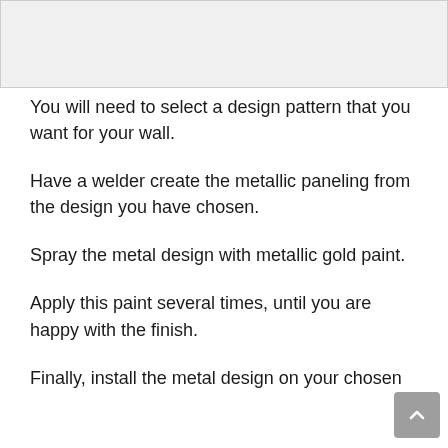[Figure (other): Image placeholder area at top of page]
You will need to select a design pattern that you want for your wall.
Have a welder create the metallic paneling from the design you have chosen.
Spray the metal design with metallic gold paint.
Apply this paint several times, until you are happy with the finish.
Finally, install the metal design on your chosen